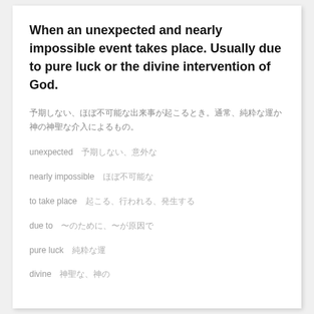When an unexpected and nearly impossible event takes place. Usually due to pure luck or the divine intervention of God.
予期しない、ほぼ不可能な出来事が起こるとき。通常、純粋な運か神の神聖な介入によるもの。
unexpected　予期しない、意外な
nearly impossible　ほぼ不可能な
to take place　起こる、行われる、発生する
due to　〜のために、〜が原因で
pure luck　純粋な運
divine　神聖な、神の